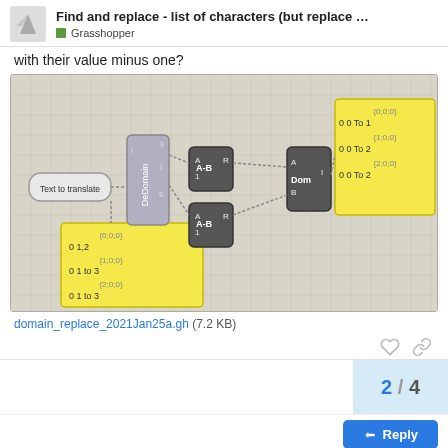Find and replace - list of characters (but replace ... Grasshopper
with their value minus one?
[Figure (screenshot): Grasshopper visual scripting diagram showing nodes: Text to translate, DeDomain, two A-B nodes, Dom node, and two yellow data panels with domain values {0;0;0} 0 1,2 / {1;0;0} 0 1 to 3 / {2;0;0} 0 1 to 3 on the left, and {0;0;0} 0 0 To 1 / {1;0;0} 0 0 To 2 / {2;0;0} 0 0 To 2 on the right.]
domain_replace_2021Jan25a.gh (7.2 KB)
2 / 4
Reply
Suggested Topics